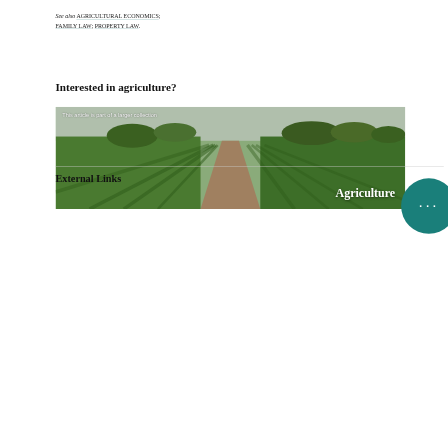See also AGRICULTURAL ECONOMICS; FAMILY LAW; PROPERTY LAW.
Interested in agriculture?
[Figure (photo): A farm field with a dirt path between rows of green crops (corn or similar), with trees in the background. Overlaid text reads 'This article is part of a larger collection' and 'Agriculture' label in large white bold text at bottom right.]
External Links